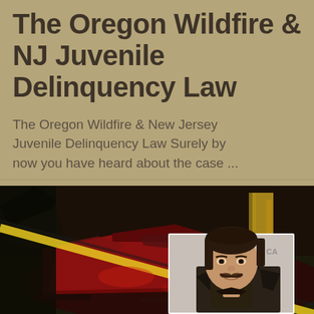The Oregon Wildfire & NJ Juvenile Delinquency Law
The Oregon Wildfire & New Jersey Juvenile Delinquency Law Surely by now you have heard about the case ...
[Figure (photo): A crashed red car with police tape, overlaid with a photo of a man with dark hair and a mustache wearing a leather jacket]